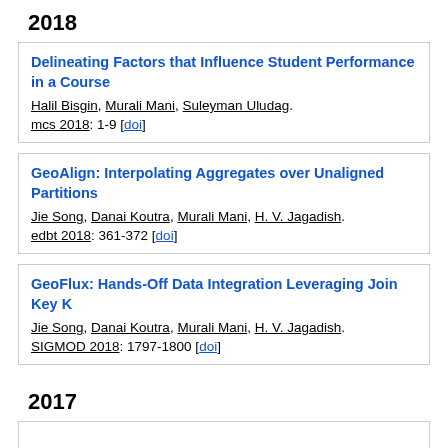2018
Delineating Factors that Influence Student Performance in a Course
Halil Bisgin, Murali Mani, Suleyman Uludag.
mcs 2018: 1-9 [doi]
GeoAlign: Interpolating Aggregates over Unaligned Partitions
Jie Song, Danai Koutra, Murali Mani, H. V. Jagadish.
edbt 2018: 361-372 [doi]
GeoFlux: Hands-Off Data Integration Leveraging Join Key Knowledge
Jie Song, Danai Koutra, Murali Mani, H. V. Jagadish.
SIGMOD 2018: 1797-1800 [doi]
2017